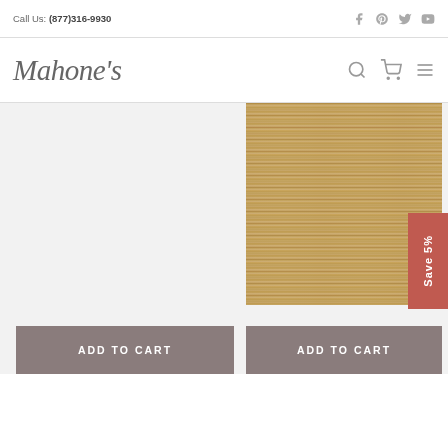Call Us: (877)316-9930
[Figure (logo): Mahone's cursive logo in italic serif font]
[Figure (photo): Woven grasscloth or sisal-textured wallpaper/rug swatch in tan/golden beige tones]
Save 5%
ADD TO CART
ADD TO CART